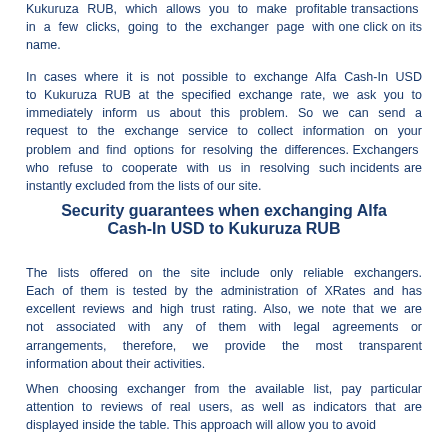Kukuruza RUB, which allows you to make profitable transactions in a few clicks, going to the exchanger page with one click on its name.
In cases where it is not possible to exchange Alfa Cash-In USD to Kukuruza RUB at the specified exchange rate, we ask you to immediately inform us about this problem. So we can send a request to the exchange service to collect information on your problem and find options for resolving the differences. Exchangers who refuse to cooperate with us in resolving such incidents are instantly excluded from the lists of our site.
Security guarantees when exchanging Alfa Cash-In USD to Kukuruza RUB
The lists offered on the site include only reliable exchangers. Each of them is tested by the administration of XRates and has excellent reviews and high trust rating. Also, we note that we are not associated with any of them with legal agreements or arrangements, therefore, we provide the most transparent information about their activities.
When choosing exchanger from the available list, pay particular attention to reviews of real users, as well as indicators that are displayed inside the table. This approach will allow you to avoid